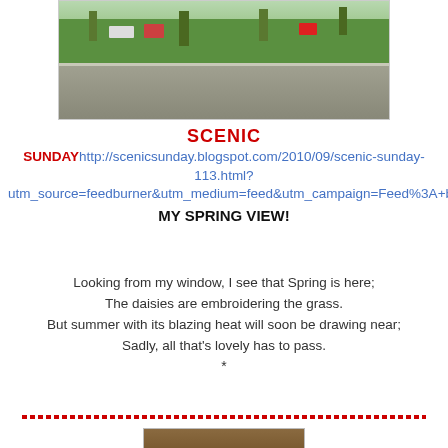[Figure (photo): Outdoor photo showing a green grassy park area with trees, a road/path, and buildings in the background. Appears to be a suburban spring scene.]
SCENIC SUNDAY http://scenicsunday.blogspot.com/2010/09/scenic-sunday-113.html?utm_source=feedburner&utm_medium=feed&utm_campaign=Feed%3A+blogspot%2FVKGn+%28Scenic+Sunday%29 MY SPRING VIEW!
Looking from my window, I see that Spring is here;
The daisies are embroidering the grass.
But summer with its blazing heat will soon be drawing near;
Sadly, all that's lovely has to pass.
*
[Figure (photo): Partial photo visible at the bottom of the page, cut off.]